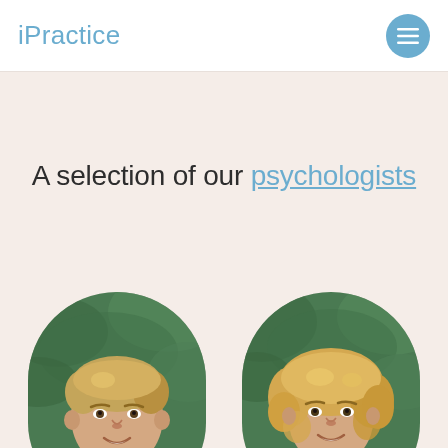iPractice
A selection of our psychologists
[Figure (photo): Portrait photo of a young man with blonde hair, wearing a light blue shirt, smiling, with green foliage background. Shown in rounded arch-shaped frame.]
[Figure (photo): Portrait photo of a young woman with curly blonde hair, wearing an orange jacket over a white top, smiling, with green foliage background. Shown in rounded arch-shaped frame.]